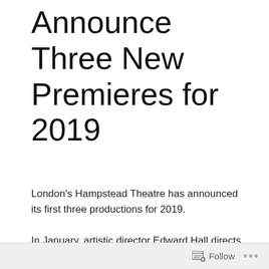Announce Three New Premieres for 2019
London's Hampstead Theatre has announced its first three productions for 2019.
In January, artistic director Edward Hall directs the UK premiere of Martyna Majok's Pulitzer Prize winning drama, COST OF LIVING. Playing on the Main Stage, the play follows John, a PhD student with cerebral palsy who hires Jess, a recent graduate, as his new carer.
Follow ···